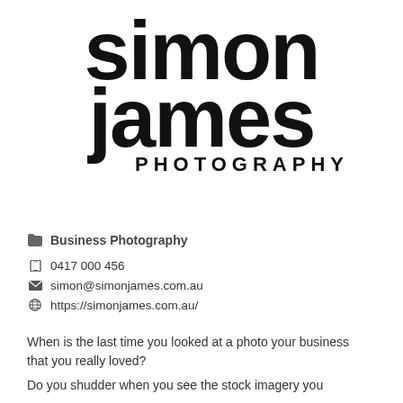[Figure (logo): Simon James Photography logo — large bold lowercase 'simon james' text with 'PHOTOGRAPHY' underneath in spaced capitals]
📁 Business Photography
☐ 0417 000 456
✉ simon@simonjames.com.au
🌐 https://simonjames.com.au/
When is the last time you looked at a photo your business that you really loved?
Do you shudder when you see the stock imagery you